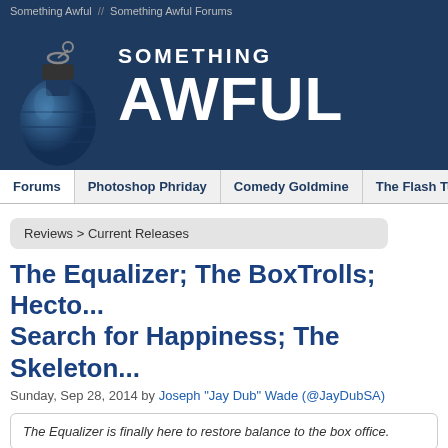Something Awful  //  Something Awful Forums
[Figure (logo): Something Awful logo with grenade illustration and bold white text reading SOMETHING AWFUL on dark blue background]
Forums | Photoshop Phriday | Comedy Goldmine | The Flash Tub | WTF, D...
Reviews > Current Releases
The Equalizer; The BoxTrolls; Hecto... Search for Happiness; The Skeleton...
Sunday, Sep 28, 2014 by Joseph "Jay Dub" Wade (@JayDubSA)
The Equalizer is finally here to restore balance to the box office.